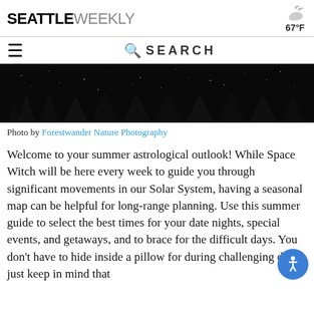SEATTLE WEEKLY  67°F
[Figure (screenshot): Night sky with silhouette of pine trees against a dark starry background]
Photo by Forestwander Nature Photography
Welcome to your summer astrological outlook! While Space Witch will be here every week to guide you through significant movements in our Solar System, having a seasonal map can be helpful for long-range planning. Use this summer guide to select the best times for your date nights, special events, and getaways, and to brace for the difficult days. You don't have to hide inside a pillow fort during challenging days, just keep in mind that